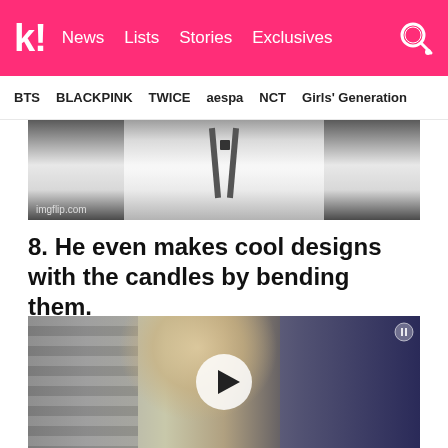k! News  Lists  Stories  Exclusives
BTS  BLACKPINK  TWICE  aespa  NCT  Girls' Generation
[Figure (photo): A meme image showing a person in a white shirt with suspenders, with imgflip.com watermark]
8. He even makes cool designs with the candles by bending them.
[Figure (photo): Video thumbnail showing a person near stairs, with a play button overlay in the center]